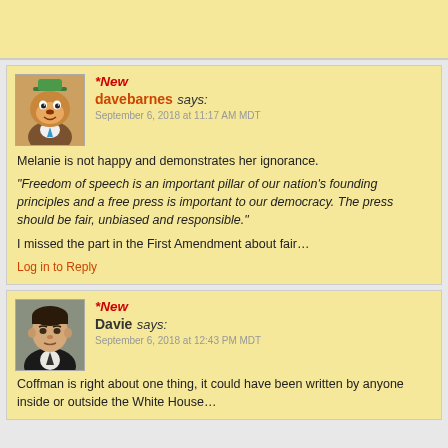*New
davebarnes says:
September 6, 2018 at 11:17 AM MDT
Melanie is not happy and demonstrates her ignorance.
"Freedom of speech is an important pillar of our nation's founding principles and a free press is important to our democracy. The press should be fair, unbiased and responsible."
I missed the part in the First Amendment about fair…
Log in to Reply
*New
Davie says:
September 6, 2018 at 12:43 PM MDT
Coffman is right about one thing, it could have been written by anyone inside or outside the White House…